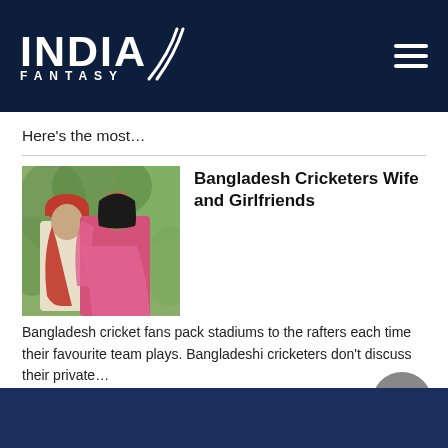[Figure (logo): India Fantasy logo — white bold text on dark navy background with swoosh graphic and hamburger menu icon]
Here's the most…
[Figure (photo): A couple in traditional South Asian wedding attire — man in cream sherwani with red turban and red dupatta, woman in pink/red saree, photographed outdoors with green foliage background]
Bangladesh Cricketers Wife and Girlfriends
Bangladesh cricket fans pack stadiums to the rafters each time their favourite team plays. Bangladeshi cricketers don't discuss their private…